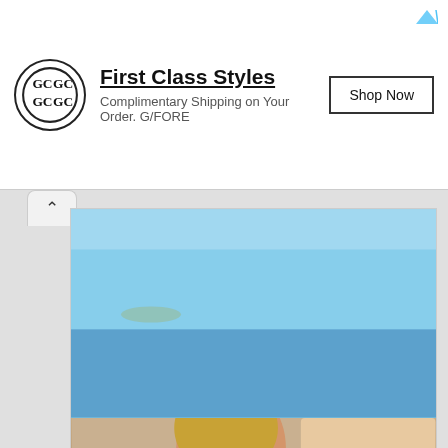[Figure (screenshot): Advertisement banner: G/FORE logo (circular monogram), headline 'First Class Styles', subtext 'Complimentary Shipping on Your Order. G/FORE', and 'Shop Now' button. Small triangular ad icon at top right.]
[Figure (photo): Main editorial photo of a young woman with long blonde hair in a sparkly low-cut dress and a man in a white suit jacket, standing outdoors near a waterfront with blue sky and sea in the background.]
infolinks
[Figure (screenshot): Petco advertisement banner with dark navy blue background. Left section shows Petco logo. Center shows a person with a golden retriever dog and a supplement bottle. Right section shows 'BUY ONE, GET ONE 50% OFF - Help support your dog's joints with a premium supplement.' and a white 'SHOP NOW' button. A close X button at top right.]